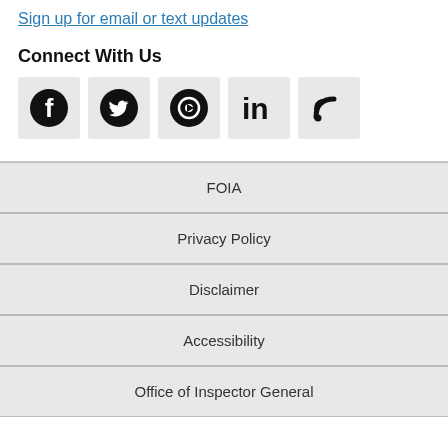Sign up for email or text updates
Connect With Us
[Figure (infographic): Five social media icons: Facebook, Twitter, YouTube, LinkedIn, RSS feed, each in a light gray square box]
FOIA
Privacy Policy
Disclaimer
Accessibility
Office of Inspector General